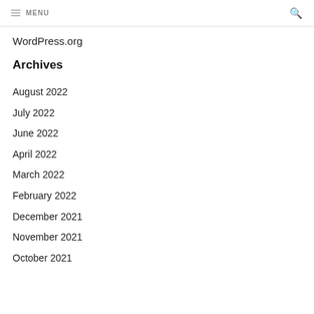MENU
WordPress.org
Archives
August 2022
July 2022
June 2022
April 2022
March 2022
February 2022
December 2021
November 2021
October 2021